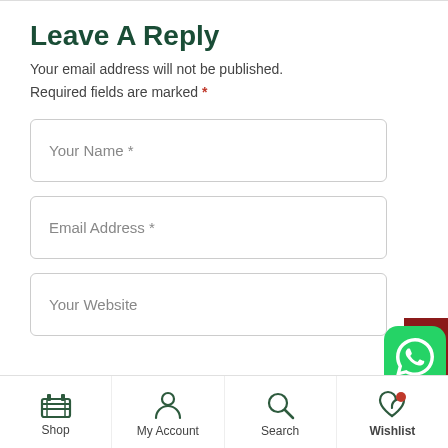Leave A Reply
Your email address will not be published. Required fields are marked *
[Figure (screenshot): Web form with three input fields: Your Name *, Email Address *, Your Website, with INR currency tab and WhatsApp button on the right side]
Shop | My Account | Search | Wishlist